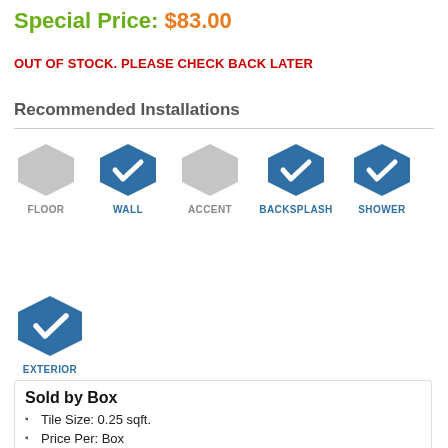Special Price: $83.00
OUT OF STOCK. PLEASE CHECK BACK LATER
Recommended Installations
[Figure (infographic): Installation type icons (hexagons): FLOOR (grey, unchecked), WALL (blue, checked), ACCENT (grey, unchecked), BACKSPLASH (blue, checked), SHOWER (blue, checked), EXTERIOR (blue, checked)]
Sold by Box
Tile Size: 0.25 sqft.
Price Per: Box
Box Size: 9.5 Sqft.
Collection: Solid Series Pool Tile
Material: Glazed Porcelain